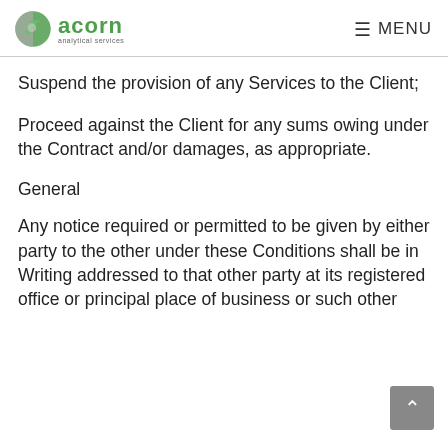acorn analytical services | MENU
Suspend the provision of any Services to the Client;
Proceed against the Client for any sums owing under the Contract and/or damages, as appropriate.
General
Any notice required or permitted to be given by either party to the other under these Conditions shall be in Writing addressed to that other party at its registered office or principal place of business or such other